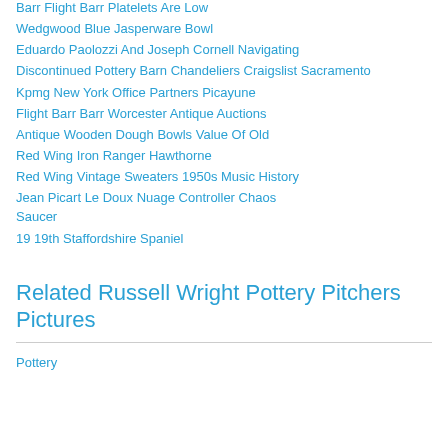Barr Flight Barr Platelets Are Low
Wedgwood Blue Jasperware Bowl
Eduardo Paolozzi And Joseph Cornell Navigating
Discontinued Pottery Barn Chandeliers Craigslist Sacramento
Kpmg New York Office Partners Picayune
Flight Barr Barr Worcester Antique Auctions
Antique Wooden Dough Bowls Value Of Old
Red Wing Iron Ranger Hawthorne
Red Wing Vintage Sweaters 1950s Music History
Jean Picart Le Doux Nuage Controller Chaos Saucer
19 19th Staffordshire Spaniel
Related Russell Wright Pottery Pitchers Pictures
Pottery